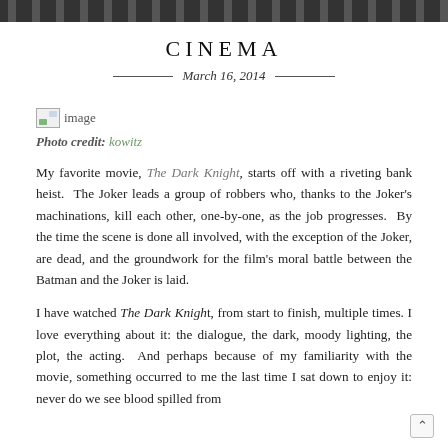CINEMA
March 16, 2014
[Figure (photo): Broken/placeholder image icon labeled 'image']
Photo credit: kowitz
My favorite movie, The Dark Knight, starts off with a riveting bank heist. The Joker leads a group of robbers who, thanks to the Joker's machinations, kill each other, one-by-one, as the job progresses. By the time the scene is done all involved, with the exception of the Joker, are dead, and the groundwork for the film's moral battle between the Batman and the Joker is laid.
I have watched The Dark Knight, from start to finish, multiple times. I love everything about it: the dialogue, the dark, moody lighting, the plot, the acting. And perhaps because of my familiarity with the movie, something occurred to me the last time I sat down to enjoy it: never do we see blood spilled from